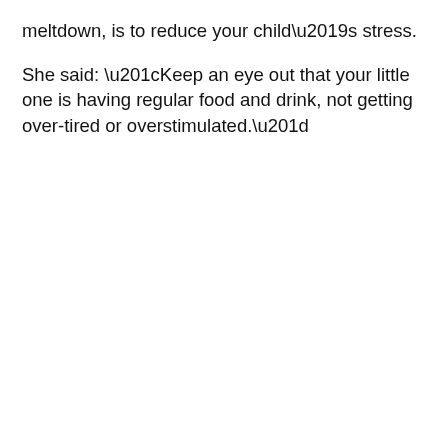meltdown, is to reduce your child's stress.
She said: “Keep an eye out that your little one is having regular food and drink, not getting over-tired or overstimulated.”